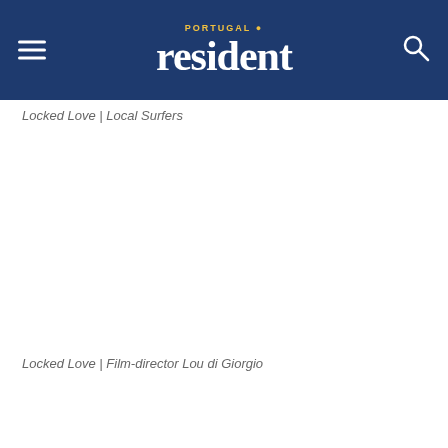Portugal Resident
Locked Love | Local Surfers
Locked Love | Film-director Lou di Giorgio